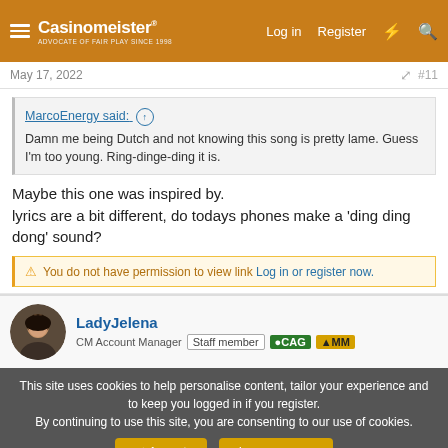Casinomeister - ADVOCATE OF FAIR PLAY SINCE 1998 | Log in | Register
May 17, 2022  #11
MarcoEnergy said: ↑
Damn me being Dutch and not knowing this song is pretty lame. Guess I'm too young. Ring-dinge-ding it is.
Maybe this one was inspired by.
lyrics are a bit different, do todays phones make a 'ding ding dong' sound?
⚠ You do not have permission to view link Log in or register now.
LadyJelena
CM Account Manager  Staff member  CAG  MM
This site uses cookies to help personalise content, tailor your experience and to keep you logged in if you register.
By continuing to use this site, you are consenting to our use of cookies.
Accept  Learn more...